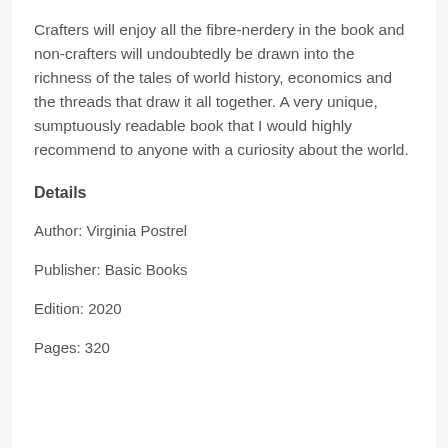Crafters will enjoy all the fibre-nerdery in the book and non-crafters will undoubtedly be drawn into the richness of the tales of world history, economics and the threads that draw it all together. A very unique, sumptuously readable book that I would highly recommend to anyone with a curiosity about the world.
Details
Author: Virginia Postrel
Publisher: Basic Books
Edition: 2020
Pages: 320